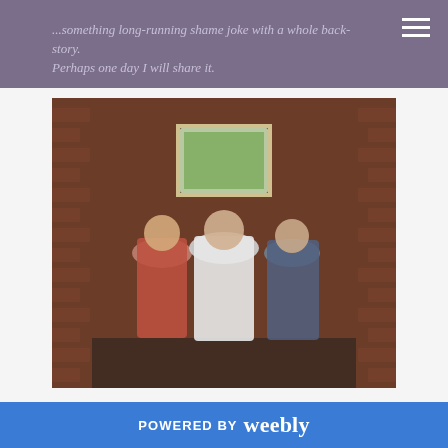...something long-running shame joke with a whole back-story. Perhaps one day I will share it.
[Figure (photo): Three women standing together in front of a brick wall with a framed picture behind them. The woman on the left wears a red dress, the woman in the center wears a white blouse with a sparkly cape, and the woman on the right wears a blue and purple outfit with a scarf.]
Although I did not spend much time planning a costume this year, I did manage to accidentally make this sparkly cape! I
POWERED BY weebly